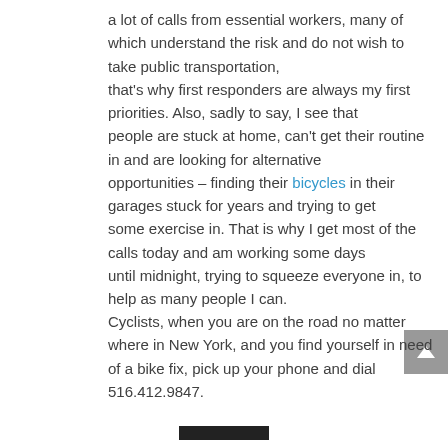a lot of calls from essential workers, many of which understand the risk and do not wish to take public transportation, that's why first responders are always my first priorities. Also, sadly to say, I see that people are stuck at home, can't get their routine in and are looking for alternative opportunities – finding their bicycles in their garages stuck for years and trying to get some exercise in. That is why I get most of the calls today and am working some days until midnight, trying to squeeze everyone in, to help as many people I can.
Cyclists, when you are on the road no matter where in New York, and you find yourself in need of a bike fix, pick up your phone and dial 516.412.9847.